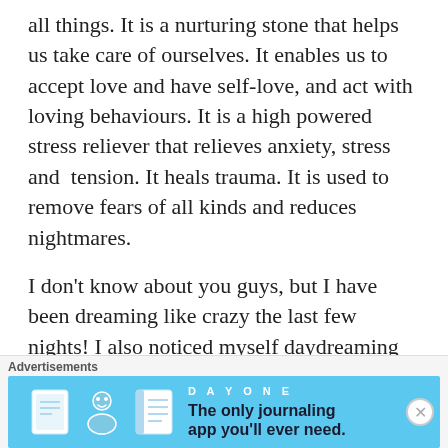all things. It is a nurturing stone that helps us take care of ourselves. It enables us to accept love and have self-love, and act with loving behaviours. It is a high powered stress reliever that relieves anxiety, stress and  tension. It heals trauma. It is used to remove fears of all kinds and reduces nightmares.
I don't know about you guys, but I have been dreaming like crazy the last few nights! I also noticed myself daydreaming yesterday, so it's funny to see that with the Rhodochrosite. There have been no nightmares either, so thank you Mangano Calcite! 🤩 Everything I am seeing from the crystals is very aligned with the astrology and readings I have
Advertisements
[Figure (screenshot): DayOne journaling app advertisement banner with blue background, showing app icons and tagline 'The only journaling app you'll ever need.']